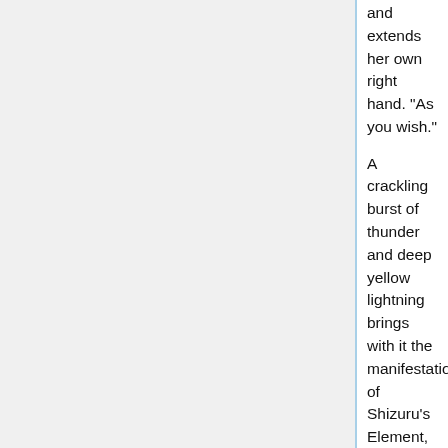and extends her own right hand. "As you wish."
A crackling burst of thunder and deep yellow lightning brings with it the manifestation of Shizuru's Element, a red naginata of strange, futuristic style that she holds in both hands, its tassel hanging lightly in the air.
"Heh. I wonder something about you too, Araki-kun, since I've indulged your curiousity." he paces, circling, and keeps her eyes on Kasagami's, her stance ready. "Let's say that you win. You defeat our dear, dear Utena Tenjou, in a battle for the ages, just as you wish."
A wide smile appears on Shizuru's face. "What will you do with the Rose Bride? Surely, you've thought of it? A servant, to be done with as you will? As a future